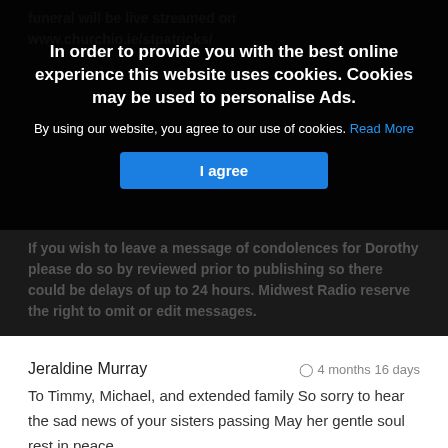funeral will be live streamed on www.churchio.ie/stpatricks/
In order to provide you with the best online experience this website uses cookies. Cookies may be used to personalise Ads.
By using our website, you agree to our use of cookies. Read More
I agree
If you wish to leave a message of condolences for Dorothy please do so by reviewed prior to publishing so there could be delays of up to 24 hours. Midwest Radio reserve the right to omit or edit messages.
Jeraldine Murray
4 months 16 days
To Timmy, Michael, and extended family So sorry to hear the sad news of your sisters passing May her gentle soul rest in peace
[Figure (illustration): Flag icon (report/flag button)]